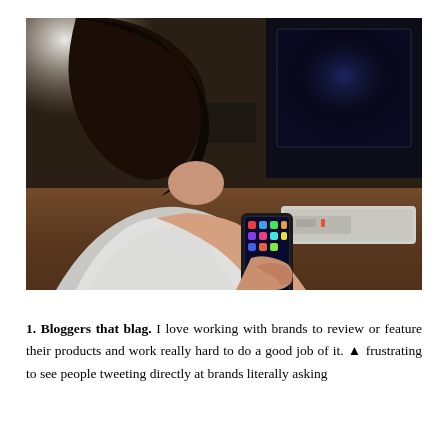[Figure (photo): A young woman with dark hair sitting indoors, holding a smartphone with both hands, browsing apps. A television and media console are visible in the blurred background. The setting appears to be a living room with wooden flooring.]
1. Bloggers that blag. I love working with brands to review or feature their products and work really hard to do a good job of it. [arrow icon] frustrating to see people tweeting directly at brands literally asking